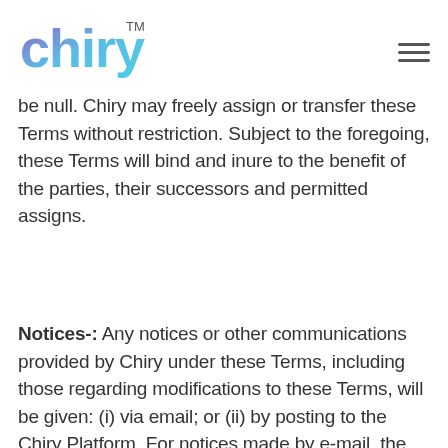[Figure (logo): Chiry logo with TM mark — stylized colorful text 'chiry' in purple/blue gradient with TM superscript]
be null. Chiry may freely assign or transfer these Terms without restriction. Subject to the foregoing, these Terms will bind and inure to the benefit of the parties, their successors and permitted assigns.
Notices-: Any notices or other communications provided by Chiry under these Terms, including those regarding modifications to these Terms, will be given: (i) via email; or (ii) by posting to the Chiry Platform. For notices made by e-mail, the